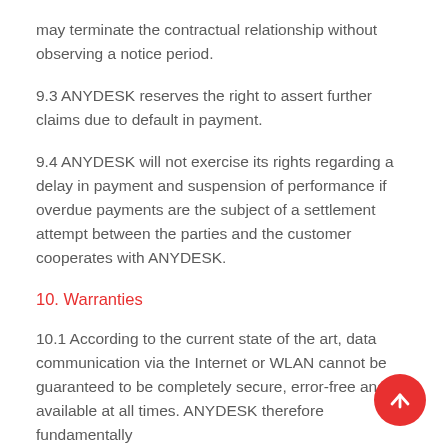may terminate the contractual relationship without observing a notice period.
9.3 ANYDESK reserves the right to assert further claims due to default in payment.
9.4 ANYDESK will not exercise its rights regarding a delay in payment and suspension of performance if overdue payments are the subject of a settlement attempt between the parties and the customer cooperates with ANYDESK.
10. Warranties
10.1 According to the current state of the art, data communication via the Internet or WLAN cannot be guaranteed to be completely secure, error-free and available at all times. ANYDESK therefore fundamentally